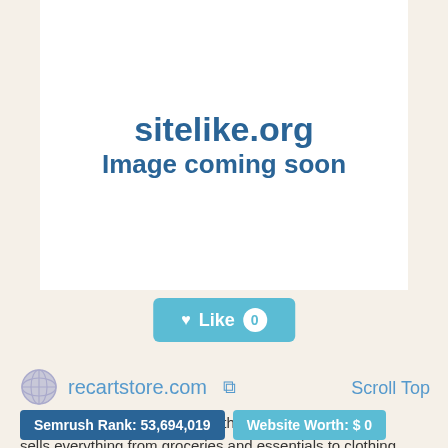sitelike.org
Image coming soon
[Figure (other): Like button with heart icon and count badge showing 0]
recartstore.com
Scroll Top
recart store | all you want with the best p recart store sells everything from groceries and essentials to clothing and electronics. choose contactless pickup or delivery.
Semrush Rank: 53,694,019
Website Worth: $ 0